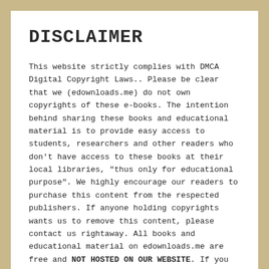DISCLAIMER
This website strictly complies with DMCA Digital Copyright Laws.. Please be clear that we (edownloads.me) do not own copyrights of these e-books. The intention behind sharing these books and educational material is to provide easy access to students, researchers and other readers who don't have access to these books at their local libraries, "thus only for educational purpose". We highly encourage our readers to purchase this content from the respected publishers. If anyone holding copyrights wants us to remove this content, please contact us rightaway. All books and educational material on edownloads.me are free and NOT HOSTED ON OUR WEBSITE. If you feel that your copyrights have been violated, then please contact us immediately. You may send an email to infomanzastore@gmail.com for all DMCA / Removal Requests. edownloads.me doesn't have any